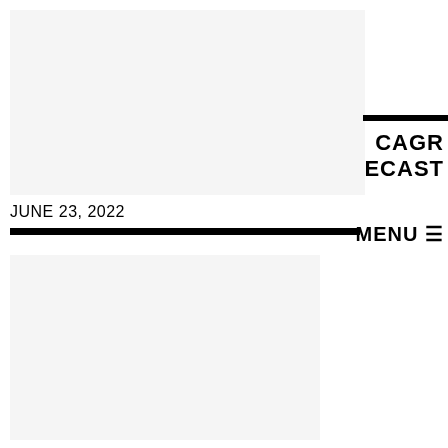[Figure (other): Light gray rectangular placeholder image box at top left]
CAGR
ECAST
JUNE 23, 2022
MENU ≡
[Figure (other): Light gray rectangular placeholder image box at bottom left]